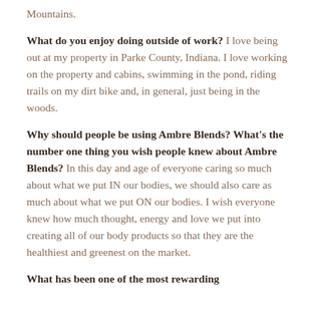Mountains.
What do you enjoy doing outside of work? I love being out at my property in Parke County, Indiana. I love working on the property and cabins, swimming in the pond, riding trails on my dirt bike and, in general, just being in the woods.
Why should people be using Ambre Blends? What's the number one thing you wish people knew about Ambre Blends? In this day and age of everyone caring so much about what we put IN our bodies, we should also care as much about what we put ON our bodies. I wish everyone knew how much thought, energy and love we put into creating all of our body products so that they are the healthiest and greenest on the market.
What has been one of the most rewarding